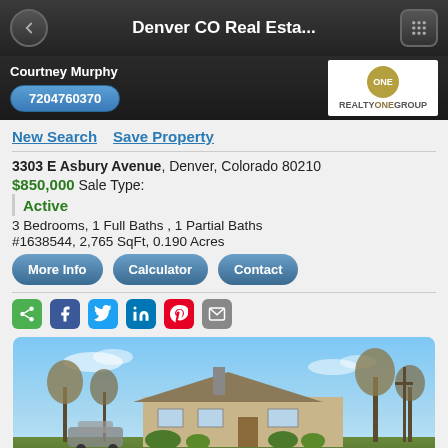Denver CO Real Esta...
Courtney Murphy
7204760370
[Figure (logo): Realty One Group logo with gold circle and ONE text]
New Search   Save Property
3303 E Asbury Avenue, Denver, Colorado 80210
$850,000 Sale Type:
Active
3 Bedrooms, 1 Full Baths , 1 Partial Baths
#1638544, 2,765 SqFt, 0.190 Acres
[Figure (photo): Exterior photo of a single-story brick ranch house at 3303 E Asbury Avenue, Denver Colorado, with blue sky background and bare trees]